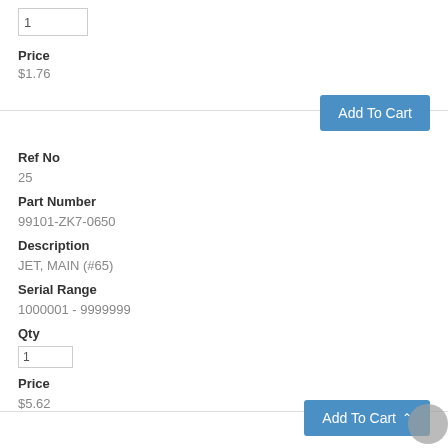1 (qty input)
Price
$1.76
Add To Cart
Ref No
25
Part Number
99101-ZK7-0650
Description
JET, MAIN (#65)
Serial Range
1000001 - 9999999
Qty
1 (qty input)
Price
$5.62
Add To Cart